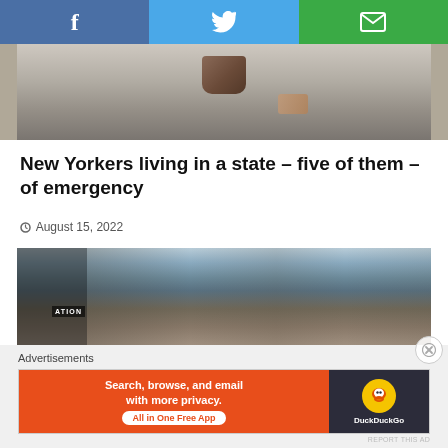[Figure (screenshot): Social share bar with Facebook, Twitter, and email buttons]
[Figure (photo): Top cropped photo showing a dark object on a surface]
New Yorkers living in a state – five of them – of emergency
August 15, 2022
[Figure (photo): Photo of New York City street with tall buildings and pedestrians]
Advertisements
[Figure (screenshot): DuckDuckGo advertisement: Search, browse, and email with more privacy. All in One Free App.]